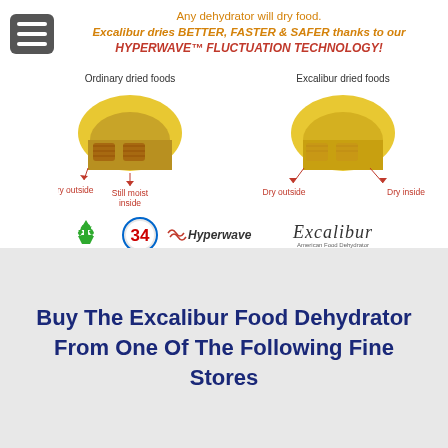[Figure (infographic): Excalibur dehydrator marketing infographic comparing 'Ordinary dried foods' (dry outside, still moist inside) vs 'Excalibur dried foods' (dry outside and dry inside), promoting HyperWave Fluctuation Technology. Includes diagrams of pineapple slices cut in cross-section showing moisture differences, and logos: recycling symbol, '34' badge, Hyperwave logo, and Excalibur script logo.]
Buy The Excalibur Food Dehydrator From One Of The Following Fine Stores